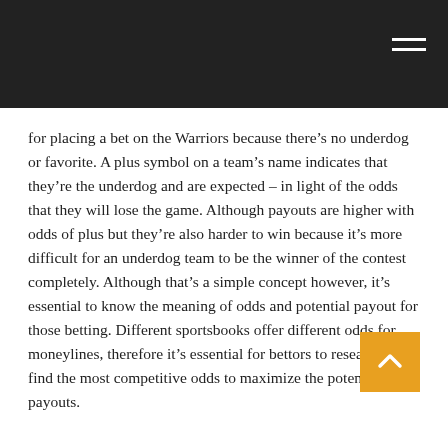for placing a bet on the Warriors because there's no underdog or favorite. A plus symbol on a team's name indicates that they're the underdog and are expected – in light of the odds that they will lose the game. Although payouts are higher with odds of plus but they're also harder to win because it's more difficult for an underdog team to be the winner of the contest completely. Although that's a simple concept however, it's essential to know the meaning of odds and potential payout for those betting. Different sportsbooks offer different odds for moneylines, therefore it's essential for bettors to research to find the most competitive odds to maximize the potential payouts.